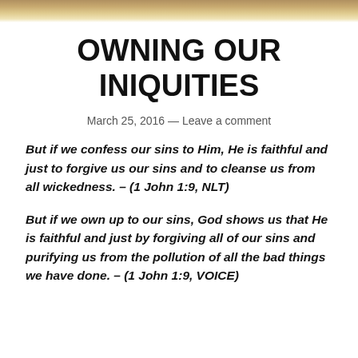OWNING OUR INIQUITIES
March 25, 2016 — Leave a comment
But if we confess our sins to Him, He is faithful and just to forgive us our sins and to cleanse us from all wickedness. – (1 John 1:9, NLT)
But if we own up to our sins, God shows us that He is faithful and just by forgiving all of our sins and purifying us from the pollution of all the bad things we have done. – (1 John 1:9, VOICE)